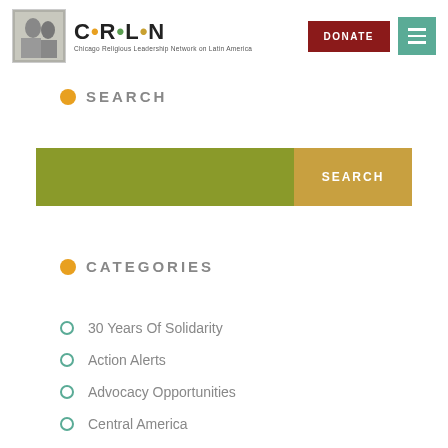[Figure (logo): CRLN logo with image of people and text 'Chicago Religious Leadership Network on Latin America']
SEARCH
[Figure (other): Search bar with green input field and gold/amber SEARCH button]
CATEGORIES
30 Years Of Solidarity
Action Alerts
Advocacy Opportunities
Central America
Colombia